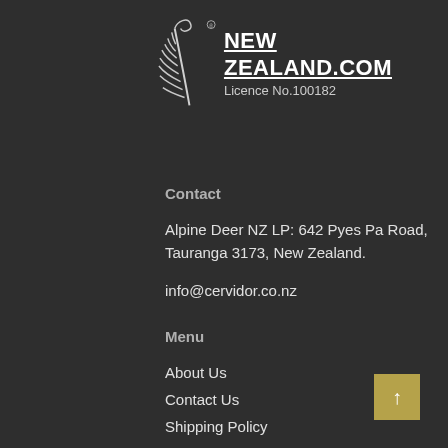[Figure (logo): New Zealand fern logo with text NEW ZEALAND.COM and Licence No.100182]
Contact
Alpine Deer NZ LP: 642 Pyes Pa Road, Tauranga 3173, New Zealand.
info@cervidor.co.nz
Menu
About Us
Contact Us
Shipping Policy
Refund Policy
Cervidor HK